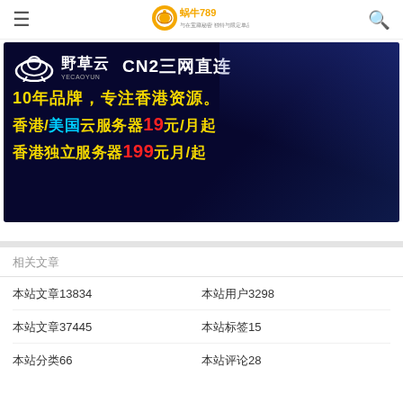蜗牛789 navigation header
[Figure (infographic): 野草云 YECAOYUN advertisement banner on dark navy background. Text: CN2三网直连, 10年品牌，专注香港资源。, 香港/美国云服务器19元/月起, 香港独立服务器199元月/起]
相关文章
本站文章13834
本站用户3298
本站文章37445
本站标签15
本站分类66
本站评论28